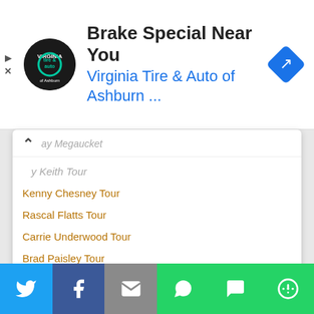[Figure (screenshot): Advertisement banner for Virginia Tire & Auto of Ashburn with logo, title 'Brake Special Near You', subtitle 'Virginia Tire & Auto of Ashburn...', and blue diamond arrow navigation icon]
ay Megaucket
y Keith Tour
Kenny Chesney Tour
Rascal Flatts Tour
Carrie Underwood Tour
Brad Paisley Tour
George Strait Tour
Taylor Swift Tour
Jason Aldean Tour
Zac Brown Band Tour
more...Country Music Concerts
About CMNB
[Figure (screenshot): Social share button bar with Twitter, Facebook, Email, WhatsApp, SMS, and More buttons]